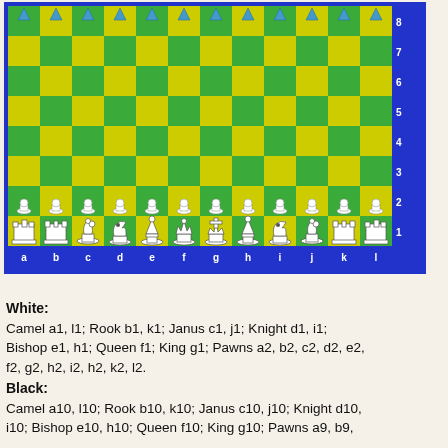[Figure (other): A 12x10 chess variant board (Grand Chess or similar) shown from white's perspective. The board has green and yellow squares with a blue border. White pieces are on rows 1-2, black pieces are on rows 9-10. Column labels a-l on x-axis, row labels 1-8 visible on right side.]
White: Camel a1, l1; Rook b1, k1; Janus c1, j1; Knight d1, i1; Bishop e1, h1; Queen f1; King g1; Pawns a2, b2, c2, d2, e2, f2, g2, h2, i2, h2, k2, l2.
Black: Camel a10, l10; Rook b10, k10; Janus c10, j10; Knight d10, i10; Bishop e10, h10; Queen f10; King g10; Pawns a9, b9, c9, d9, e9, f9, g9, h9, i9, j9, k9, l9.